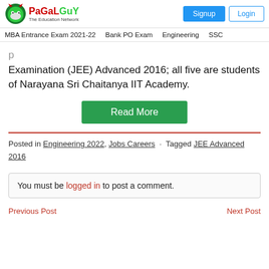PaGaLGuY - The Education Network | Signup | Login
MBA Entrance Exam 2021-22 | Bank PO Exam | Engineering | SSC
Examination (JEE) Advanced 2016; all five are students of Narayana Sri Chaitanya IIT Academy.
Read More
Posted in Engineering 2022, Jobs Careers · Tagged JEE Advanced 2016
You must be logged in to post a comment.
Previous Post    Next Post